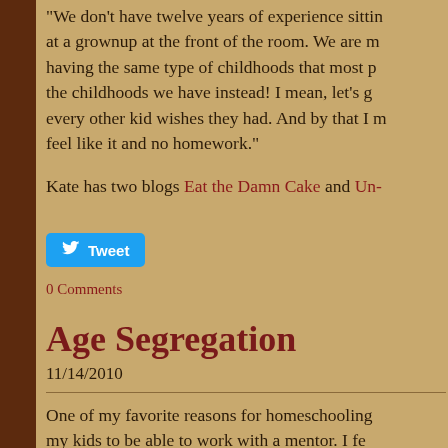"We don't have twelve years of experience sitting at a grownup at the front of the room. We are having the same type of childhoods that most p... the childhoods we have instead! I mean, let's g... every other kid wishes they had. And by that I m... feel like it and no homework."
Kate has two blogs Eat the Damn Cake and Un-
Tweet
0 Comments
Age Segregation
11/14/2010
One of my favorite reasons for homeschooling my kids to be able to work with a mentor. I fe...